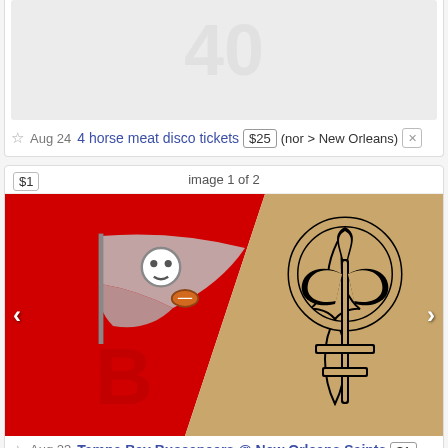[Figure (screenshot): Craigslist listing screenshot showing two ticket listings. First listing shows a placeholder image with a faint watermark, titled '4 horse meat disco tickets' priced at $25, posted Aug 24 in nor > New Orleans. Second listing shows Tampa Bay Buccaneers vs New Orleans Saints team logos on a red and gold background, priced at $1, posted Aug 23 in nor.]
Aug 24  4 horse meat disco tickets  $25  (nor > New Orleans)
image 1 of 2
Aug 23  Tampa Bay Buccaneers @ New Orleans Saints  $1  (nor)